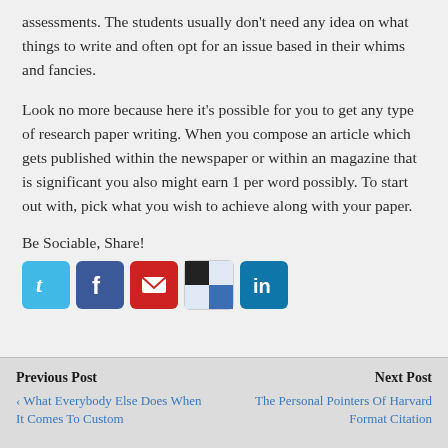assessments. The students usually don't need any idea on what things to write and often opt for an issue based in their whims and fancies.
Look no more because here it's possible for you to get any type of research paper writing. When you compose an article which gets published within the newspaper or within an magazine that is significant you also might earn 1 per word possibly. To start out with, pick what you wish to achieve along with your paper.
Be Sociable, Share!
[Figure (infographic): Social share icons: Twitter (blue), Facebook (dark blue), Mail (red), Delicious (black and white), LinkedIn (light blue)]
Previous Post | What Everybody Else Does When It Comes To Custom ... || Next Post | The Personal Pointers Of Harvard Format Citation St...